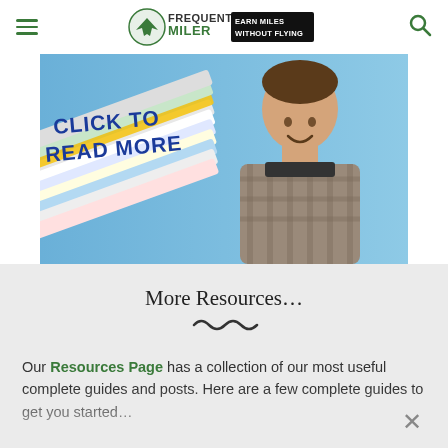Frequent Miler — Earn Miles Without Flying
[Figure (photo): Photo of a man smiling, with credit cards stacked in foreground and text overlay 'CLICK TO READ MORE' in blue on a colorful background]
More Resources…
Our Resources Page has a collection of our most useful complete guides and posts. Here are a few complete guides to get you started…